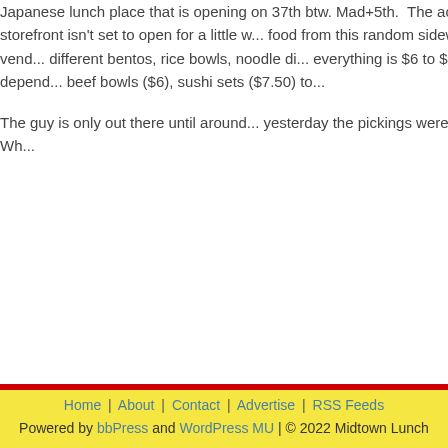Japanese lunch place that is opening on 37th btw. Mad+5th. The actual storefront isn't set to open for a little w... food from this random sidewalk vend... different bentos, rice bowls, noodle di... everything is $6 to $7.50, and depend... beef bowls ($6), sushi sets ($7.50) to...
The guy is only out there until around... yesterday the pickings were slim. Wh...
Posted by Zach Brooks at 11:30 am
btw 6+7th, Japanese.
10 Comments
Home | About | Contact | Advertise | RSS Feeds
Powered by bbPress and WordPress MU | © 2022 Midtown Lunch